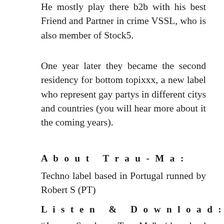He mostly play there b2b with his best Friend and Partner in crime VSSL, who is also member of Stock5.
One year later they became the second residency for bottom topixxx, a new label who represent gay partys in different citys and countries (you will hear more about it the coming years).
About Trau-Ma:
Techno label based in Portugal runned by Robert S (PT)
Listen & Download:
“Jonge S plays Trau-Ma” (download coming